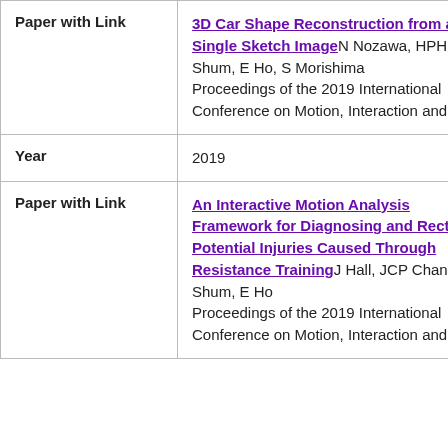|  |  |
| --- | --- |
| Paper with Link | 3D Car Shape Reconstruction from a Single Sketch Image N Nozawa, HPH Shum, E Ho, S Morishima Proceedings of the 2019 International Conference on Motion, Interaction and ... |
| Year | 2019 |
| Paper with Link | An Interactive Motion Analysis Framework for Diagnosing and Rectifying Potential Injuries Caused Through Resistance Training J Hall, JCP Chan, HPH Shum, E Ho Proceedings of the 2019 International Conference on Motion, Interaction and ... |